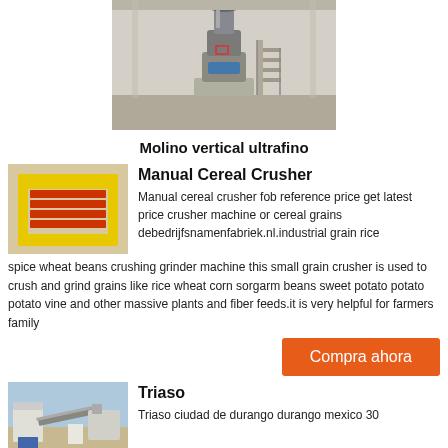[Figure (photo): Industrial vertical ultrafine mill machine inside a factory building]
Molino vertical ultrafino
[Figure (photo): Manual cereal crusher machine with yellow frame and red rollers]
Manual Cereal Crusher
Manual cereal crusher fob reference price get latest price crusher machine or cereal grains debedrijfsnamenfabriek.nl.industrial grain rice spice wheat beans crushing grinder machine this small grain crusher is used to crush and grind grains like rice wheat corn sorgarm beans sweet potato potato potato vine and other massive plants and fiber feeds.it is very helpful for farmers family
Compra ahora
[Figure (photo): Triaso industrial equipment in outdoor setting]
Triaso
Triaso ciudad de durango durango mexico 30